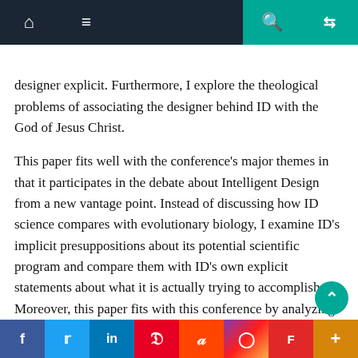Navigation bar with home, menu, search, and random icons
designer explicit. Furthermore, I explore the theological problems of associating the designer behind ID with the God of Jesus Christ.
This paper fits well with the conference’s major themes in that it participates in the debate about Intelligent Design from a new vantage point. Instead of discussing how ID science compares with evolutionary biology, I examine ID’s implicit presuppositions about its potential scientific program and compare them with ID’s own explicit statements about what it is actually trying to accomplish. Moreover, this paper fits with this conference by analyzing the language Christians use to depict divine action, particularly as ID proponents employ “designer” when speaking of God.
Social sharing bar: Facebook, Twitter, LinkedIn, Pinterest, Reddit, Instagram, Flipboard, More